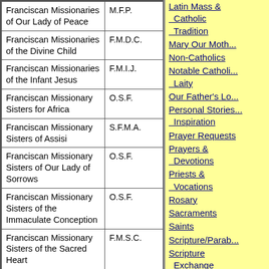| Order / Congregation | Abbreviation |
| --- | --- |
| Franciscan Missionaries of Our Lady of Peace | M.F.P. |
| Franciscan Missionaries of the Divine Child | F.M.D.C. |
| Franciscan Missionaries of the Infant Jesus | F.M.I.J. |
| Franciscan Missionary Sisters for Africa | O.S.F. |
| Franciscan Missionary Sisters of Assisi | S.F.M.A. |
| Franciscan Missionary Sisters of Our Lady of Sorrows | O.S.F. |
| Franciscan Missionary Sisters of the Immaculate Conception | O.S.F. |
| Franciscan Missionary Sisters of the Sacred Heart | F.M.S.C. |
| Franciscan Sisters Daughters of Mercy | F.H.M. |
| Franciscan Sisters of Allegany New York | O.S.F. |
| The Franciscan Sisters of | O.S.F. |
Latin Mass & Catholic Tradition
Mary Our Mother
Non-Catholics
Notable Catholic Laity
Our Father's Lo...
Personal Stories & Inspiration
Prayer Requests
Prayers & Devotions
Priests & Vocations
Rosary
Sacraments
Saints
Scripture/Parables
Scripture Exchange
St. Francis Page for Pets
Vatican View
Volunteers' Corner